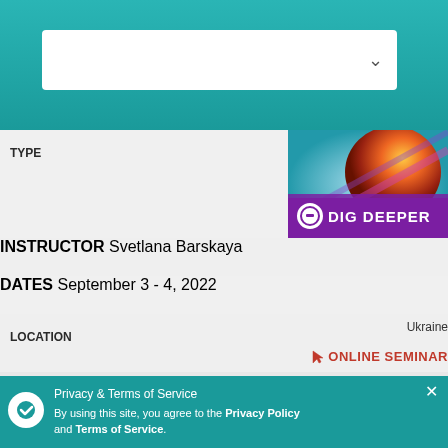[Figure (screenshot): Teal header bar with white dropdown/search box containing a down arrow]
| Field | Value |
| --- | --- |
| TYPE | Dig Deeper (badge image) |
| INSTRUCTOR | Svetlana Barskaya |
| DATES | September 3 - 4, 2022 |
| LOCATION | Ukraine / ONLINE SEMINAR |
|  | Learn More |
| TYPE | Dig Deeper (badge image) |
| INSTRUCTOR | EN(cut off) |
| DATES | (cut off) 022 |
| LOCATION | Taiwan, Republic of China / ONLINE SEMINAR (cut off) |
[Figure (screenshot): Privacy & Terms of Service toast notification overlay in teal, with checkmark icon, close X button, text about Privacy Policy and Terms of Service]